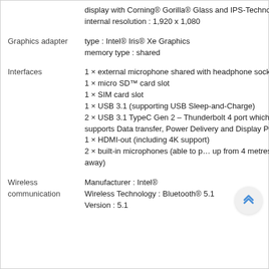|  |  |
| --- | --- |
|  | display with Corning® Gorilla® Glass and IPS-Technology
internal resolution : 1,920 x 1,080 |
| Graphics adapter | type : Intel® Iris® Xe Graphics
memory type : shared |
| Interfaces | 1 × external microphone shared with headphone socket
1 × micro SD™ card slot
1 × SIM card slot
1 × USB 3.1 (supporting USB Sleep-and-Charge)
2 × USB 3.1 TypeC Gen 2 – Thunderbolt 4 port which supports Data transfer, Power Delivery and Display Port
1 × HDMI-out (including 4K support)
2 × built-in microphones (able to pick up from 4 metres away) |
| Wireless communication | Manufacturer : Intel®
Wireless Technology : Bluetooth® 5.1
Version : 5.1 |